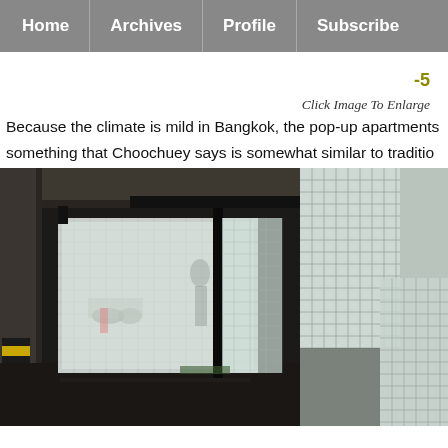Home | Archives | Profile | Subscribe
-5
Click Image To Enlarge
Because the climate is mild in Bangkok, the pop-up apartments something that Choochuey says is somewhat similar to traditio
[Figure (photo): Two-part photo: left shows a glowing white translucent wire-mesh enclosed room/pod inside a dark concrete parking structure with striped yellow-black pillars; right shows a close-up of the wire mesh panel material.]